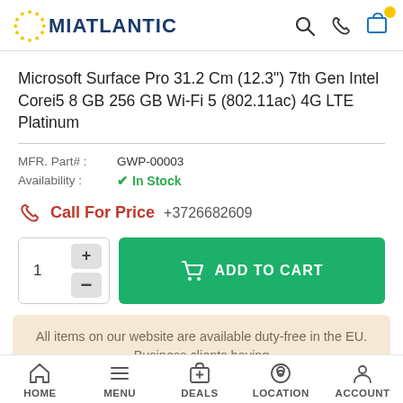MIATLANTIC
Microsoft Surface Pro 31.2 Cm (12.3") 7th Gen Intel Corei5 8 GB 256 GB Wi-Fi 5 (802.11ac) 4G LTE Platinum
MFR. Part#: GWP-00003
Availability: In Stock
Call For Price +3726682609
1  +  −  ADD TO CART
All items on our website are available duty-free in the EU. Business clients having
HOME  MENU  DEALS  LOCATION  ACCOUNT